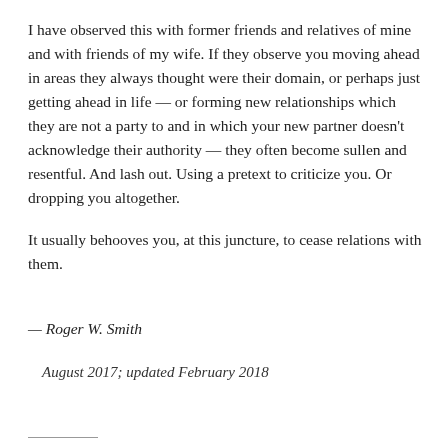I have observed this with former friends and relatives of mine and with friends of my wife. If they observe you moving ahead in areas they always thought were their domain, or perhaps just getting ahead in life — or forming new relationships which they are not a party to and in which your new partner doesn't acknowledge their authority — they often become sullen and resentful. And lash out. Using a pretext to criticize you. Or dropping you altogether.
It usually behooves you, at this juncture, to cease relations with them.
— Roger W. Smith
August 2017; updated February 2018